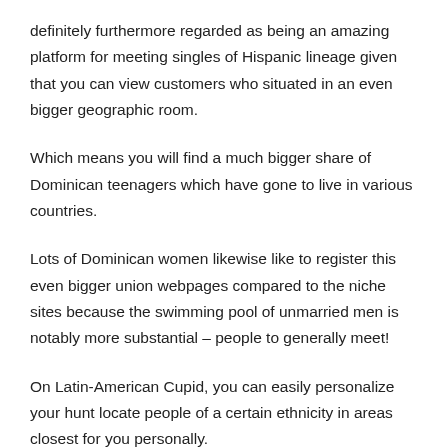definitely furthermore regarded as being an amazing platform for meeting singles of Hispanic lineage given that you can view customers who situated in an even bigger geographic room.
Which means you will find a much bigger share of Dominican teenagers which have gone to live in various countries.
Lots of Dominican women likewise like to register this even bigger union webpages compared to the niche sites because the swimming pool of unmarried men is notably more substantial – people to generally meet!
On Latin-American Cupid, you can easily personalize your hunt locate people of a certain ethnicity in areas closest for you personally.